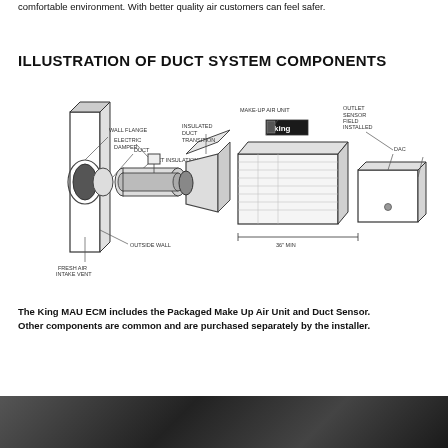comfortable environment. With better quality air customers can feel safer.
ILLUSTRATION OF DUCT SYSTEM COMPONENTS
[Figure (engineering-diagram): Exploded diagram of duct system components including: Fresh Air Intake Vent, Outside Wall, Wall Flange, Duct, Duct Insulation, Electric Damper, Insulated Duct Transition, King Make-Up Air Unit (MAU ECM), Outlet Sensor Field Installed, and DAC. Components shown in perspective/isometric view from left to right. A dimension arrow shows '36" MIN' between the Make-Up Air Unit and DAC.]
The King MAU ECM includes the Packaged Make Up Air Unit and Duct Sensor. Other components are common and are purchased separately by the installer.
[Figure (photo): Partial photo strip at bottom of page, dark image, likely showing an installation scene.]